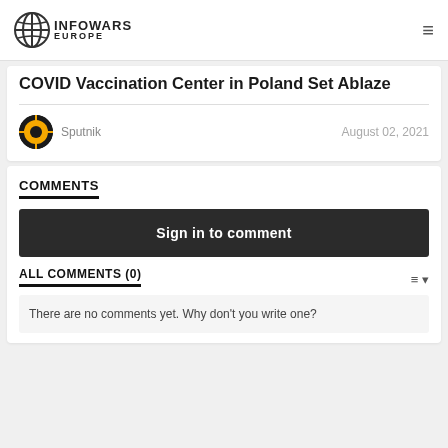INFOWARS EUROPE
COVID Vaccination Center in Poland Set Ablaze
Sputnik    August 02, 2021
COMMENTS
Sign in to comment
ALL COMMENTS (0)
There are no comments yet. Why don't you write one?